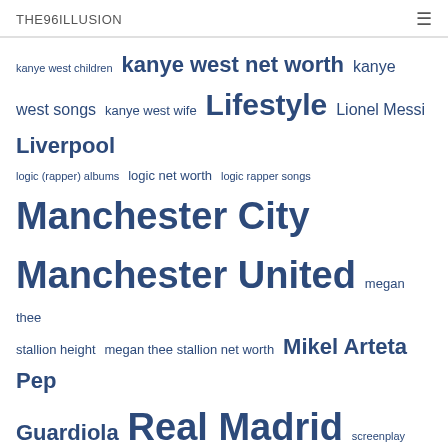THE96ILLUSION
kanye west children kanye west net worth kanye west songs kanye west wife Lifestyle Lionel Messi Liverpool logic (rapper) albums logic net worth logic rapper songs Manchester City Manchester United megan thee stallion height megan thee stallion net worth Mikel Arteta Pep Guardiola Real Madrid screenplay example screenplay format screenplay meaning screenplay pdf screenplay template screenplay vs script screenplay writer Transfers Transfer window Travel Twitter Uefa Champions League Woman
Recent Comments
onyebuchi95 on New Video: Fireboy DML – New York City Girl